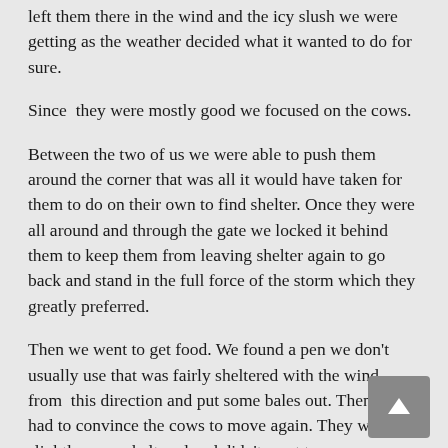left them there in the wind and the icy slush we were getting as the weather decided what it wanted to do for sure.

Since  they were mostly good we focused on the cows.

Between the two of us we were able to push them around the corner that was all it would have taken for them to do on their own to find shelter. Once they were all around and through the gate we locked it behind them to keep them from leaving shelter again to go back and stand in the full force of the storm which they greatly preferred.

Then we went to get food. We found a pen we don't usually use that was fairly sheltered with the wind from  this direction and put some bales out. Then we had to convince the cows to move again. They were slightly more sheltered and didn't want to move.

Once they were finally settled and everything fed I went to check on the calves whose moms had left them on the far side